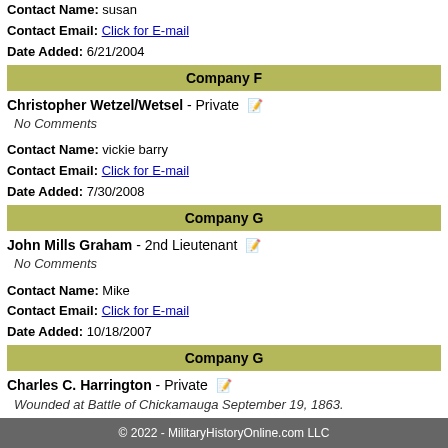Contact Name: susan
Contact Email: Click for E-mail
Date Added: 6/21/2004
Company F
Christopher Wetzel/Wetsel - Private
No Comments
Contact Name: vickie barry
Contact Email: Click for E-mail
Date Added: 7/30/2008
Company G
John Mills Graham - 2nd Lieutenant
No Comments
Contact Name: Mike
Contact Email: Click for E-mail
Date Added: 10/18/2007
Company G
Charles C. Harrington - Private
Wounded at Battle of Chickamauga September 19, 1863.
© 2022 - MilitaryHistoryOnline.com LLC